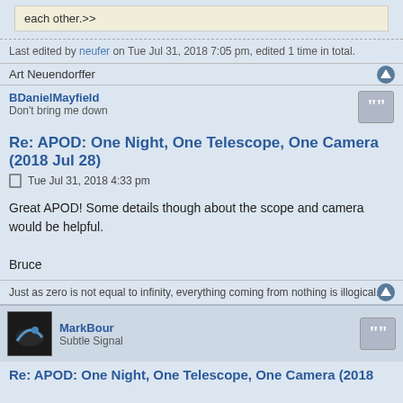each other.>>
Last edited by neufer on Tue Jul 31, 2018 7:05 pm, edited 1 time in total.
Art Neuendorffer
BDanielMayfield
Don't bring me down
Re: APOD: One Night, One Telescope, One Camera (2018 Jul 28)
Tue Jul 31, 2018 4:33 pm
Great APOD! Some details though about the scope and camera would be helpful.

Bruce
Just as zero is not equal to infinity, everything coming from nothing is illogical.
MarkBour
Subtle Signal